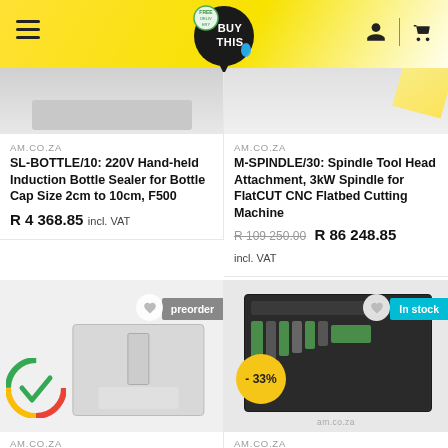BuyThis - Free Delivery
[Figure (screenshot): Cropped top of product image for SL-BOTTLE/10 bottle sealer]
AM.CO.ZA
SL-BOTTLE/10: 220V Hand-held Induction Bottle Sealer for Bottle Cap Size 2cm to 10cm, F500
R 4 368.85 incl. VAT
[Figure (screenshot): Cropped top of product image for M-SPINDLE/30 spindle tool]
AM.CO.ZA
M-SPINDLE/30: Spindle Tool Head Attachment, 3kW Spindle for FlatCUT CNC Flatbed Cutting Machine
R 109 250.00  R 86 248.85 incl. VAT
[Figure (photo): SL-BOTTLE/13 hand-held induction bottle sealer product image with Google checkmark overlay and preorder badge]
AM.CO.ZA
SL-BOTTLE/13: 220V Hand-
[Figure (photo): AG-TOOL/ESS tool kit in case with -33% discount badge and in stock badge, am.co.za watermark]
AM.CO.ZA
AG-TOOL/ESS: Essential Multi-